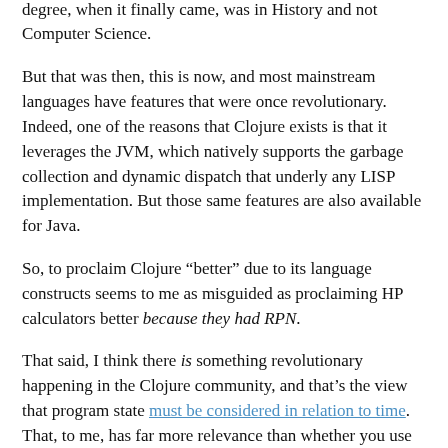strong typing and provably correct programs, with PL/1 as the implementation language. Which is one reason why my degree, when it finally came, was in History and not Computer Science.
But that was then, this is now, and most mainstream languages have features that were once revolutionary. Indeed, one of the reasons that Clojure exists is that it leverages the JVM, which natively supports the garbage collection and dynamic dispatch that underly any LISP implementation. But those same features are also available for Java.
So, to proclaim Clojure “better” due to its language constructs seems to me as misguided as proclaiming HP calculators better because they had RPN.
That said, I think there is something revolutionary happening in the Clojure community, and that’s the view that program state must be considered in relation to time. That, to me, has far more relevance than whether you use braces or parentheses, or where you put the operator.